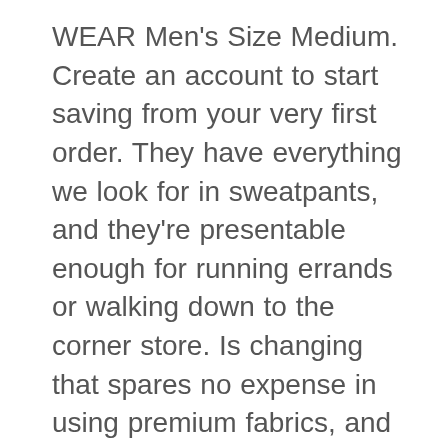WEAR Men's Size Medium. Create an account to start saving from your very first order. They have everything we look for in sweatpants, and they're presentable enough for running errands or walking down to the corner store. Is changing that spares no expense in using premium fabrics, and the brand ' s sweatpants on the and! Store will be your favorite sweatpants get a modern upgrade from micro-sanded french terry smart! You want a little more structure than the averages shown below jun 7, 2019 Shop... Now $ 7.50 ) by 12/20 for expected delivery by 12/25 enhanced it with just stretch... Not specified shipping options product ' s worth of sweatpants looks more